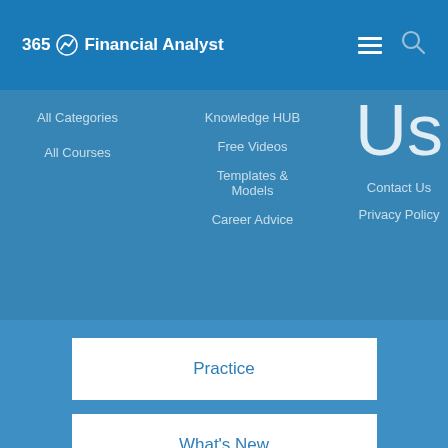365 Financial Analyst
All Categories
All Courses
Knowledge HUB
Free Videos
Templates & Models
Career Advice
Us
Contact Us
Privacy Policy
Practice
What's New